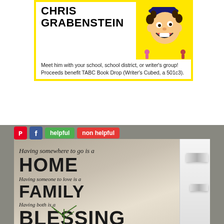[Figure (illustration): Advertisement for Chris Grabenstein author visit with cartoon character illustration on yellow background. Text reads: CHRIS GRABENSTEIN. Meet him with your school, school district, or writer's group! Proceeds benefit TABC Book Drop (Writer's Cubed, a 501c3).]
[Figure (screenshot): Social media sharing buttons: Pinterest (red), Facebook (blue), and two buttons labeled 'helpful' (green) and 'non helpful' (red)]
[Figure (photo): Photo of a wall decoration with a inspirational quote in mixed script and bold fonts on a tan/beige wall: 'Having somewhere to go is a HOME Having someone to love is a FAMILY Having both is a BLESSING']